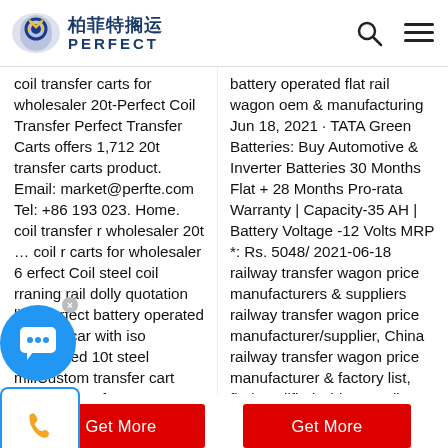柏菲特搁运 PERFECT
coil transfer carts for wholesaler 20t-Perfect Coil Transfer Perfect Transfer Carts offers 1,712 20t transfer carts product. Email: market@perfte.com Tel: +86 193 023. Home. coil transfer r wholesaler 20t … coil r carts for wholesaler 6 erfect Coil steel coil rraning rail dolly quotation list–Perfect battery operated transfer car with iso certificated 10t steel millCustom transfer cart factory manufacturer–Perfect coil loa Email: market@perfte.com Tel: +86 193...
battery operated flat rail wagon oem & manufacturing Jun 18, 2021 · TATA Green Batteries: Buy Automotive & Inverter Batteries 30 Months Flat + 28 Months Pro-rata Warranty | Capacity-35 AH | Battery Voltage -12 Volts MRP *: Rs. 5048/ 2021-06-18 railway transfer wagon price manufacturers & suppliers railway transfer wagon price manufacturer/supplier, China railway transfer wagon price manufacturer & factory list, find qualified Chinese railway transfer wagon price manufact...